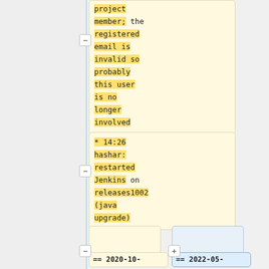project member; the registered email is invalid so probably this user is no longer involved
* 14:26 hashar: restarted Jenkins on releases1002 (java upgrade)
== 2020-10-
== 2022-05-